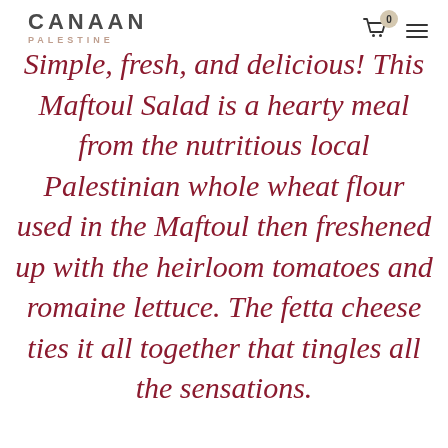CANAAN PALESTINE
Simple, fresh, and delicious! This Maftoul Salad is a hearty meal from the nutritious local Palestinian whole wheat flour used in the Maftoul then freshened up with the heirloom tomatoes and romaine lettuce. The fetta cheese ties it all together that tingles all the sensations.